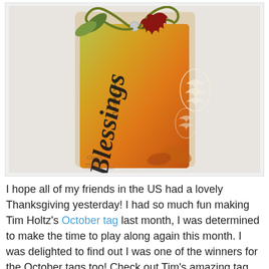[Figure (photo): A handmade autumn/Thanksgiving gift tag with 'Blessings' written in script, decorated with fall leaves (red oak leaf, green leaves), dried botanical/pinecone embossing, warm orange and yellow watercolor background. Olive green ribbon tied at top. Watermark reads 'Clare's creations' at bottom left.]
I hope all of my friends in the US had a lovely Thanksgiving yesterday! I had so much fun making Tim Holtz's October tag last month, I was determined to make the time to play along again this month. I was delighted to find out I was one of the winners for the October tags too! Check out Tim's amazing tag for November. He used a clear embossing resist